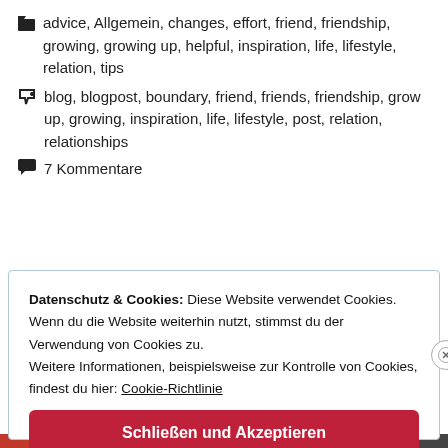advice, Allgemein, changes, effort, friend, friendship, growing, growing up, helpful, inspiration, life, lifestyle, relation, tips
blog, blogpost, boundary, friend, friends, friendship, grow up, growing, inspiration, life, lifestyle, post, relation, relationships
7 Kommentare
Datenschutz & Cookies: Diese Website verwendet Cookies. Wenn du die Website weiterhin nutzt, stimmst du der Verwendung von Cookies zu. Weitere Informationen, beispielsweise zur Kontrolle von Cookies, findest du hier: Cookie-Richtlinie
Schließen und Akzeptieren